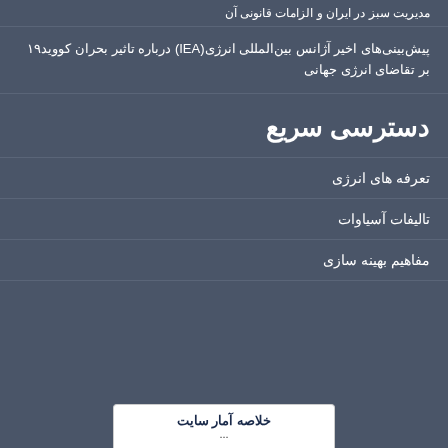مدیریت سبز در ایران و الزامات قانونی آن
پیش‌بینی‌های اخیر آژانس بین‌المللی انرژی(IEA) درباره تاثیر بحران کووید۱۹ بر تقاضای انرژی جهانی
دسترسی سریع
تعرفه های انرژی
تالیفات آسیاوات
مفاهیم بهینه سازی
خلاصه آمار سایت